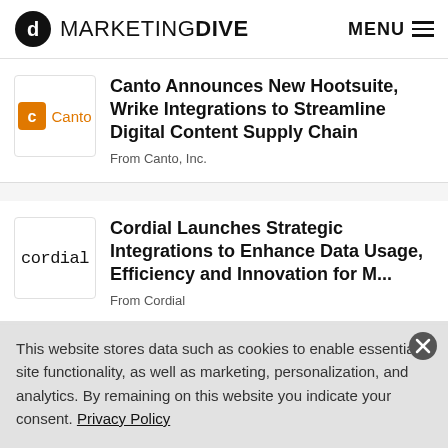MARKETING DIVE  MENU
Canto Announces New Hootsuite, Wrike Integrations to Streamline Digital Content Supply Chain
From Canto, Inc.
Cordial Launches Strategic Integrations to Enhance Data Usage, Efficiency and Innovation for M...
From Cordial
This website stores data such as cookies to enable essential site functionality, as well as marketing, personalization, and analytics. By remaining on this website you indicate your consent. Privacy Policy